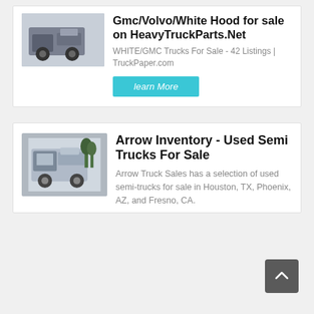[Figure (photo): Photo of rear of a heavy truck/semi tractor, dark colored, viewed from behind-left angle in a yard]
Gmc/Volvo/White Hood for sale on HeavyTruckParts.Net
WHITE/GMC Trucks For Sale - 42 Listings | TruckPaper.com
learn More
[Figure (photo): Photo of a silver/white semi truck tractor, side-front view, with trees in background]
Arrow Inventory - Used Semi Trucks For Sale
Arrow Truck Sales has a selection of used semi-trucks for sale in Houston, TX, Phoenix, AZ, and Fresno, CA.